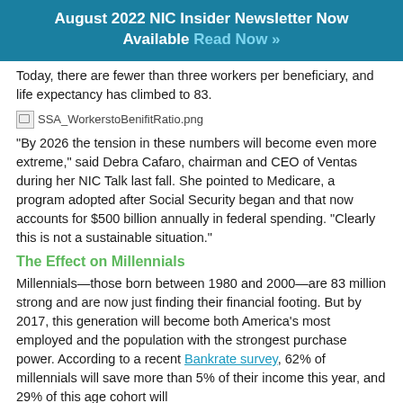August 2022 NIC Insider Newsletter Now Available Read Now »
Today, there are fewer than three workers per beneficiary, and life expectancy has climbed to 83.
[Figure (photo): SSA_WorkerstoBenifitRatio.png - broken image placeholder]
“By 2026 the tension in these numbers will become even more extreme,” said Debra Cafaro, chairman and CEO of Ventas during her NIC Talk last fall. She pointed to Medicare, a program adopted after Social Security began and that now accounts for $500 billion annually in federal spending. “Clearly this is not a sustainable situation.”
The Effect on Millennials
Millennials—those born between 1980 and 2000—are 83 million strong and are now just finding their financial footing. But by 2017, this generation will become both America’s most employed and the population with the strongest purchase power. According to a recent Bankrate survey, 62% of millennials will save more than 5% of their income this year, and 29% of this age cohort will